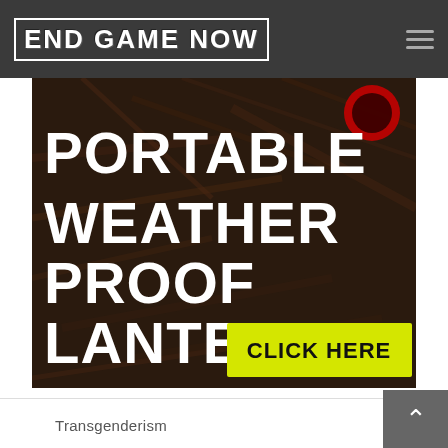End Game Now
[Figure (photo): Advertisement banner showing a portable weather proof lantern product with dark background of twigs/wood. White text reads 'PORTABLE WEATHER PROOF LANTERN' and a yellow button reads 'CLICK HERE'.]
Transgenderism
Gay Rights
Water Safety
Food Safety
Human Trafficking
ADHD/ADD